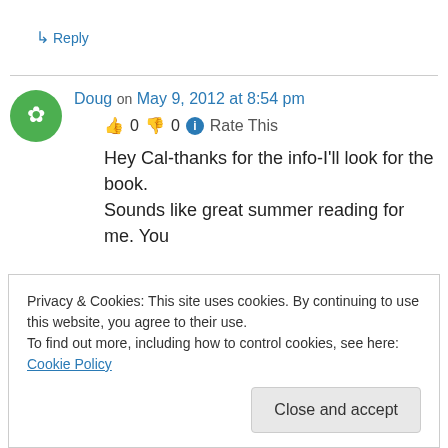↳ Reply
Doug on May 9, 2012 at 8:54 pm
👍 0 👎 0 ℹ Rate This
Hey Cal-thanks for the info-I'll look for the book. Sounds like great summer reading for me. You
Privacy & Cookies: This site uses cookies. By continuing to use this website, you agree to their use.
To find out more, including how to control cookies, see here: Cookie Policy
Close and accept